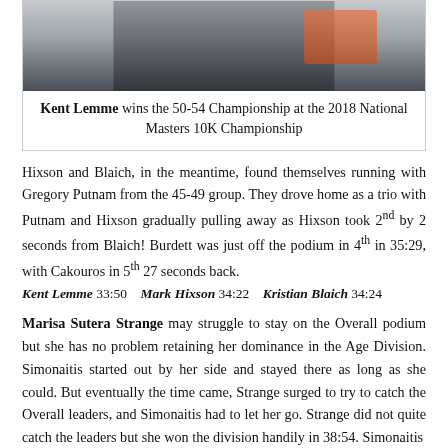[Figure (photo): A runner competing in a road race, wearing dark shorts and light top, photographed from waist down]
Kent Lemme wins the 50-54 Championship at the 2018 National Masters 10K Championship
Hixson and Blaich, in the meantime, found themselves running with Gregory Putnam from the 45-49 group. They drove home as a trio with Putnam and Hixson gradually pulling away as Hixson took 2nd by 2 seconds from Blaich! Burdett was just off the podium in 4th in 35:29, with Cakouros in 5th 27 seconds back.
Kent Lemme 33:50    Mark Hixson 34:22    Kristian Blaich 34:24
Marisa Sutera Strange may struggle to stay on the Overall podium but she has no problem retaining her dominance in the Age Division. Simonaitis started out by her side and stayed there as long as she could. But eventually the time came, Strange surged to try to catch the Overall leaders, and Simonaitis had to let her go. Strange did not quite catch the leaders but she won the division handily in 38:54. Simonaitis